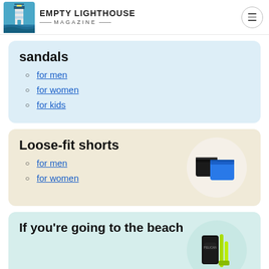EMPTY LIGHTHOUSE MAGAZINE
sandals
for men
for women
for kids
Loose-fit shorts
[Figure (photo): Two pairs of shorts — one black and one blue — displayed in a circular white frame on a beige background.]
for men
for women
If you're going to the beach
[Figure (photo): Beach gear including what appears to be a black case and lime green straps/accessories in a circular frame on a mint background.]